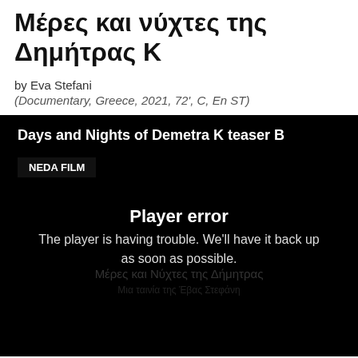Μέρες και νύχτες της Δημήτρας Κ
by Eva Stefani
(Documentary, Greece, 2021, 72', C, En ST)
[Figure (screenshot): Video player screenshot with black background showing 'Days and Nights of Demetra K teaser B' title, NEDA FILM channel tag, and a player error message reading 'Player error. The player is having trouble. We'll have it back up as soon as possible.' with faint Greek subtitle overlay text 'Μέρες και Νύχτες της Δήμητρας' and 'Μια ταινία της Έβας Στεφάνη']